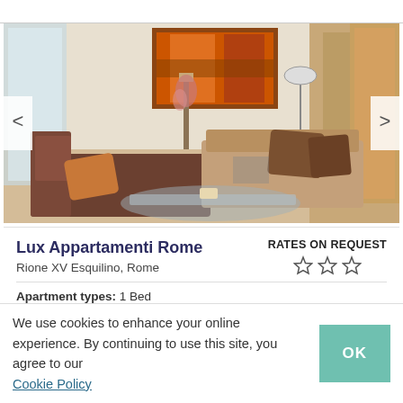[Figure (photo): Interior photo of Lux Appartamenti Rome showing a living room with brown L-shaped sofa, decorative pillows, glass coffee table, floor lamp, colorful artwork on wall, and wooden flooring. Navigation arrows on left and right sides.]
Lux Appartamenti Rome
Rione XV Esquilino, Rome
RATES ON REQUEST ☆☆☆
Apartment types: 1 Bed
We use cookies to enhance your online experience. By continuing to use this site, you agree to our Cookie Policy